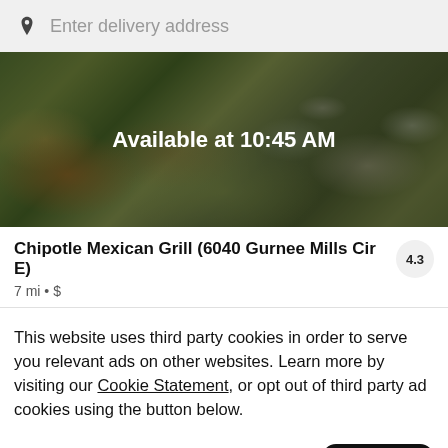Enter delivery address
[Figure (screenshot): Food photo of Chipotle bowl/salad with overlay text 'Available at 10:45 AM' on a dark-tinted background]
Chipotle Mexican Grill (6040 Gurnee Mills Cir E)  4.3
7 mi • $
This website uses third party cookies in order to serve you relevant ads on other websites. Learn more by visiting our Cookie Statement, or opt out of third party ad cookies using the button below.
Opt out
Got it